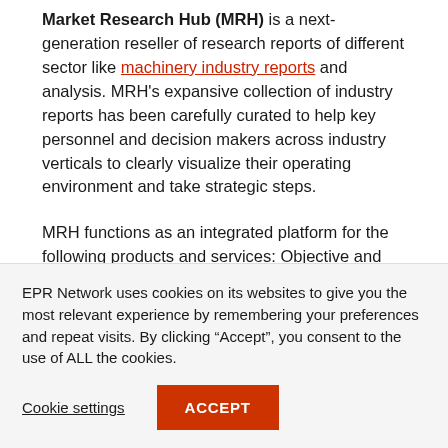Market Research Hub (MRH) is a next-generation reseller of research reports of different sector like machinery industry reports and analysis. MRH's expansive collection of industry reports has been carefully curated to help key personnel and decision makers across industry verticals to clearly visualize their operating environment and take strategic steps.
MRH functions as an integrated platform for the following products and services: Objective and sound market forecasts, qualitative and quantitative analysis, incisive insight into defining industry trends, and market share estimates. Our reputation lies in delivering value
EPR Network uses cookies on its websites to give you the most relevant experience by remembering your preferences and repeat visits. By clicking “Accept”, you consent to the use of ALL the cookies.
Cookie settings
ACCEPT